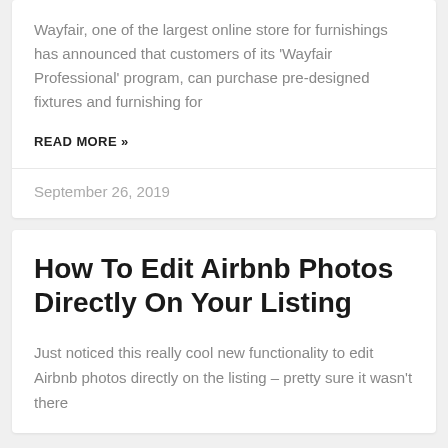Wayfair, one of the largest online store for furnishings has announced that customers of its 'Wayfair Professional' program,  can purchase pre-designed fixtures and furnishing for
READ MORE »
September 26, 2019
How To Edit Airbnb Photos Directly On Your Listing
Just noticed this really cool new functionality to edit Airbnb photos directly on the listing – pretty sure it wasn't there before. maybe they This…